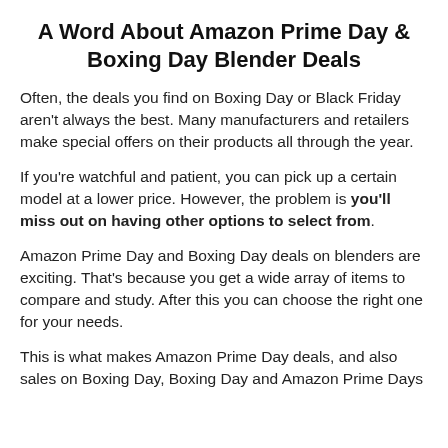A Word About Amazon Prime Day & Boxing Day Blender Deals
Often, the deals you find on Boxing Day or Black Friday aren't always the best. Many manufacturers and retailers make special offers on their products all through the year.
If you're watchful and patient, you can pick up a certain model at a lower price. However, the problem is you'll miss out on having other options to select from.
Amazon Prime Day and Boxing Day deals on blenders are exciting. That's because you get a wide array of items to compare and study. After this you can choose the right one for your needs.
This is what makes Amazon Prime Day deals, and also sales on Boxing Day, Boxing Day and Amazon Prime Days